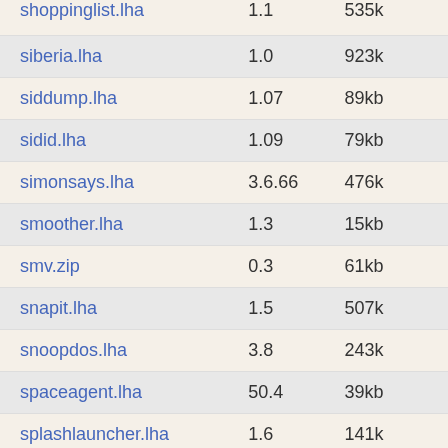| Filename | Version | Size |
| --- | --- | --- |
| shoppinglist.lha | 1.1 | 535k |
| siberia.lha | 1.0 | 923k |
| siddump.lha | 1.07 | 89kb |
| sidid.lha | 1.09 | 79kb |
| simonsays.lha | 3.6.66 | 476k |
| smoother.lha | 1.3 | 15kb |
| smv.zip | 0.3 | 61kb |
| snapit.lha | 1.5 | 507k |
| snoopdos.lha | 3.8 | 243k |
| spaceagent.lha | 50.4 | 39kb |
| splashlauncher.lha | 1.6 | 141k |